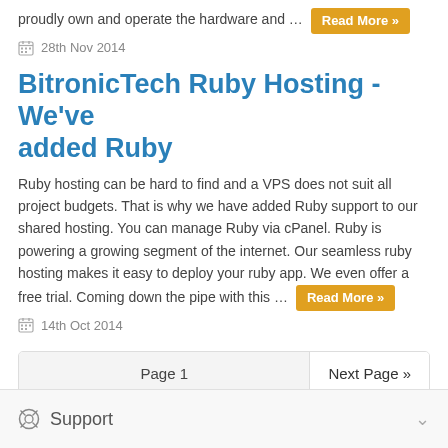proudly own and operate the hardware and … Read More »
28th Nov 2014
BitronicTech Ruby Hosting - We've added Ruby
Ruby hosting can be hard to find and a VPS does not suit all project budgets. That is why we have added Ruby support to our shared hosting. You can manage Ruby via cPanel. Ruby is powering a growing segment of the internet. Our seamless ruby hosting makes it easy to deploy your ruby app. We even offer a free trial. Coming down the pipe with this … Read More »
14th Oct 2014
Page 1   Next Page »
Support